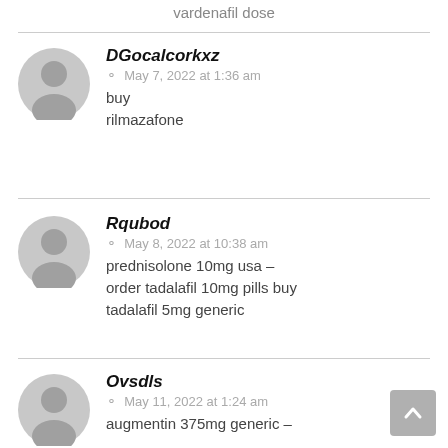vardenafil dose
DGocalcorkxz
May 7, 2022 at 1:36 am
buy rilmazafone
Rqubod
May 8, 2022 at 10:38 am
prednisolone 10mg usa – order tadalafil 10mg pills buy tadalafil 5mg generic
Ovsdls
May 11, 2022 at 1:24 am
augmentin 375mg generic –